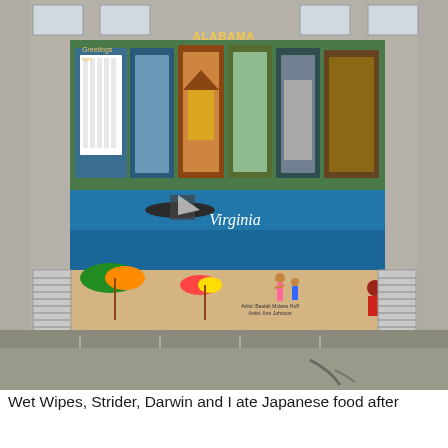[Figure (photo): A photograph of the exterior wall of a building with a large painted mural. The mural shows the word 'ALABAMA' in large decorative letters filled with scenic imagery, and below it a beach scene with the word 'Virginia' in script. Colorful beach umbrellas, figures on a beach, and a boat on water are depicted. The building wall is gray/taupe brick. Two windows with louvered shutters flank the mural. A parking lot is visible at the bottom of the image.]
Wet Wipes, Strider, Darwin and I ate Japanese food after